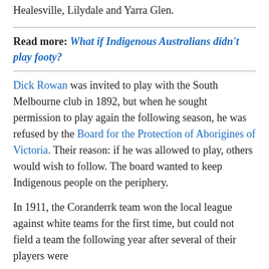Healesville, Lilydale and Yarra Glen.
Read more: What if Indigenous Australians didn't play footy?
Dick Rowan was invited to play with the South Melbourne club in 1892, but when he sought permission to play again the following season, he was refused by the Board for the Protection of Aborigines of Victoria. Their reason: if he was allowed to play, others would wish to follow. The board wanted to keep Indigenous people on the periphery.
In 1911, the Coranderrk team won the local league against white teams for the first time, but could not field a team the following year after several of their players were